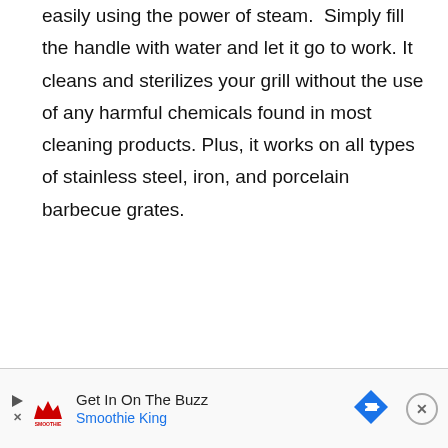easily using the power of steam.  Simply fill the handle with water and let it go to work. It cleans and sterilizes your grill without the use of any harmful chemicals found in most cleaning products. Plus, it works on all types of stainless steel, iron, and porcelain barbecue grates.
[Figure (other): Advertisement banner for Smoothie King with play button, logo, text 'Get In On The Buzz / Smoothie King', a blue diamond-shaped arrow icon, and a close button.]